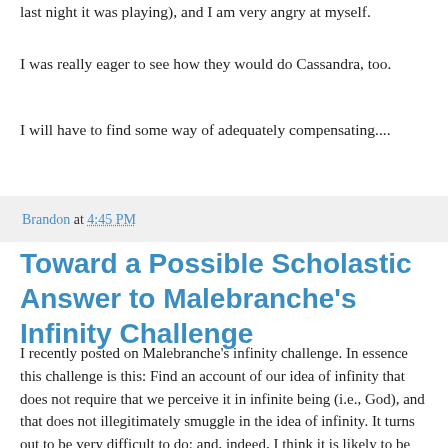last night it was playing), and I am very angry at myself.
I was really eager to see how they would do Cassandra, too.
I will have to find some way of adequately compensating....
Brandon at 4:45 PM
Toward a Possible Scholastic Answer to Malebranche's Infinity Challenge
I recently posted on Malebranche's infinity challenge. In essence this challenge is this: Find an account of our idea of infinity that does not require that we perceive it in infinite being (i.e., God), and that does not illegitimately smuggle in the idea of infinity. It turns out to be very difficult to do; and, indeed, I think it is likely to be impossible for a number of very popular views of the mind today.
Now, Malebranche's vision-in-God thesis, the idea that all